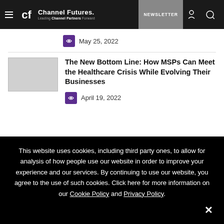Channel Futures — Leading Channel Partners Forward | NEWSLETTER
May 25, 2022
The New Bottom Line: How MSPs Can Meet the Healthcare Crisis While Evolving Their Businesses
April 19, 2022
This website uses cookies, including third party ones, to allow for analysis of how people use our website in order to improve your experience and our services. By continuing to use our website, you agree to the use of such cookies. Click here for more information on our Cookie Policy and Privacy Policy.